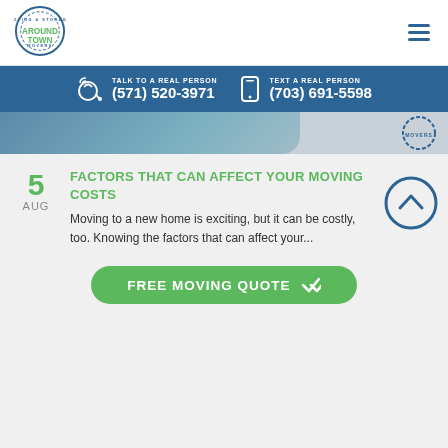[Figure (logo): Around Town Movers logo with circle and green text]
TALK TO A REAL PERSON (571) 520-3971 | TEXT A REAL PERSON (703) 691-5598
[Figure (photo): Hero image strip with moving-related photo and movers badge]
5 AUG
FACTORS THAT CAN AFFECT YOUR MOVING COSTS
Moving to a new home is exciting, but it can be costly, too. Knowing the factors that can affect your...
FREE MOVING QUOTE